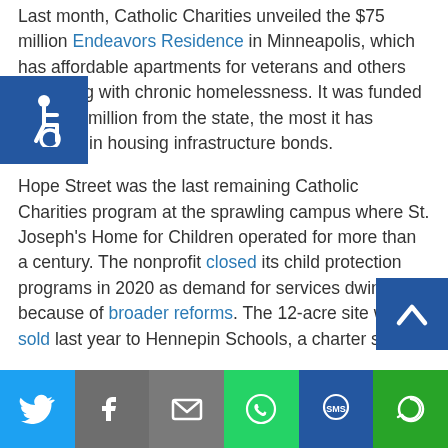Last month, Catholic Charities unveiled the $75 million Endeavors Residence in Minneapolis, which has affordable apartments for veterans and others struggling with chronic homelessness. It was funded with $30 million from the state, the most it has received in housing infrastructure bonds.
Hope Street was the last remaining Catholic Charities program at the sprawling campus where St. Joseph's Home for Children operated for more than a century. The nonprofit closed its child protection programs in 2020 as demand for services dwindled because of broader reforms. The 12-acre site was sold last year to Hennepin Schools, a charter school.
The new Hope Street facility, near Hiawatha Avenue
[Figure (other): Accessibility icon (wheelchair symbol) in white on blue background square, top-left overlay]
[Figure (other): Back-to-top button (white chevron up arrow on blue background), bottom-right overlay]
[Figure (other): Social sharing bar with six buttons: Twitter (blue bird), Facebook (gray f), Email (gray envelope), WhatsApp (green phone), SMS (blue sms), More (green circular arrow)]